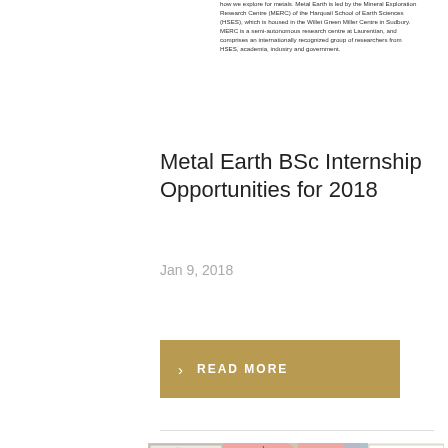how we explore for metals. Metal Earth is led by the Mineral Exploration Research Centre (MERC) of the Harquail School of Earth Sciences (HSES), which is housed in the Willet Green Miller Centre in Sudbury. MERC is a semi-autonomous research centre at Laurentian, and comprises an internationally recognized group of researchers from HSES, academia, industry and government.
Metal Earth BSc Internship Opportunities for 2018
Jan 9, 2018
READ MORE
[Figure (map): Geological map showing the Abitibi greenstone belt region with locations including Malartic, Rouyn-Noranda, Larder Lake, Swayze, and Cobalt. Includes a legend for gold production by size and lithology types including felsic intrusion, granitoid, mafic intrusion, and metavolcanic. A small inset map in upper left shows the regional location.]